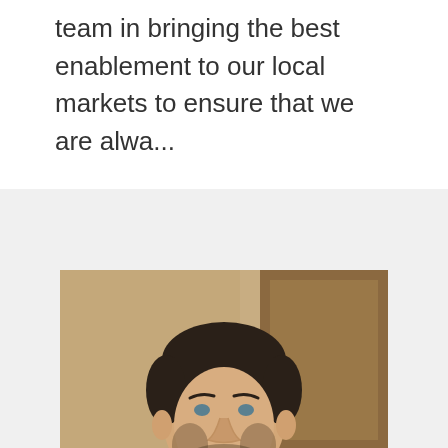team in bringing the best enablement to our local markets to ensure that we are alwa...
[Figure (photo): Portrait photo of a man with short dark hair and beard, wearing a dark maroon/burgundy zip-up pullover over a red polo shirt, smiling, standing indoors with a blurred warm-toned background. A circular scroll-up button appears in the lower right of the photo.]